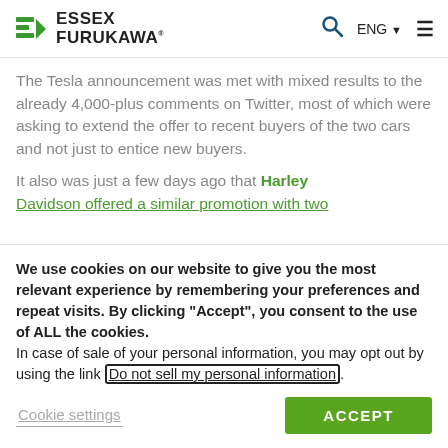Essex Furukawa
The Tesla announcement was met with mixed results to the already 4,000-plus comments on Twitter, most of which were asking to extend the offer to recent buyers of the two cars and not just to entice new buyers.
It also was just a few days ago that Harley Davidson offered a similar promotion with two...
We use cookies on our website to give you the most relevant experience by remembering your preferences and repeat visits. By clicking “Accept”, you consent to the use of ALL the cookies. In case of sale of your personal information, you may opt out by using the link Do not sell my personal information.
Cookie settings | ACCEPT